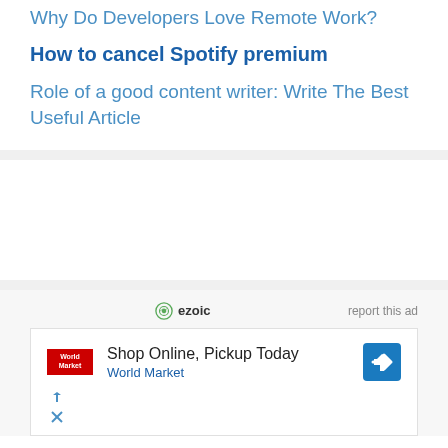Why Do Developers Love Remote Work?
How to cancel Spotify premium
Role of a good content writer: Write The Best Useful Article
[Figure (other): Ezoic ad unit with 'Shop Online, Pickup Today - World Market' advertisement]
report this ad